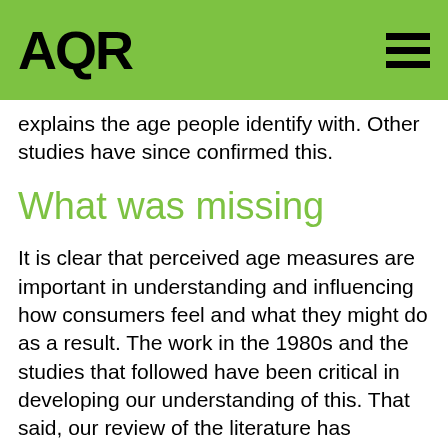AQR
explains the age people identify with. Other studies have since confirmed this.
What was missing
It is clear that perceived age measures are important in understanding and influencing how consumers feel and what they might do as a result. The work in the 1980s and the studies that followed have been critical in developing our understanding of this. That said, our review of the literature has identified a number of opportunities to develop our understanding of non-chronological